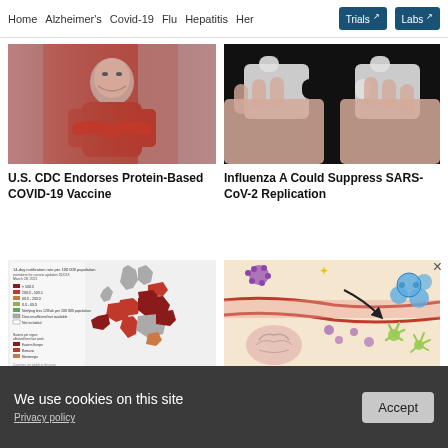Home  Alzheimer's  Covid-19  Flu  Hepatitis  Her  Trials  Labs
[Figure (photo): Woman in red jacket with arms crossed, smiling, standing in front of a building]
U.S. CDC Endorses Protein-Based COVID-19 Vaccine
[Figure (photo): Two hands holding white puzzle pieces together against a black background]
Influenza A Could Suppress SARS-CoV-2 Replication
[Figure (map): Map of Europe showing 14-day notification rates per 100,000 population members for corona updates, colored by rate ranges]
[Figure (illustration): Medical illustration showing brain, blood vessel, and immune cells with an arrow]
ADVERTISEMENT
We use cookies on this site
Privacy policy
Accept